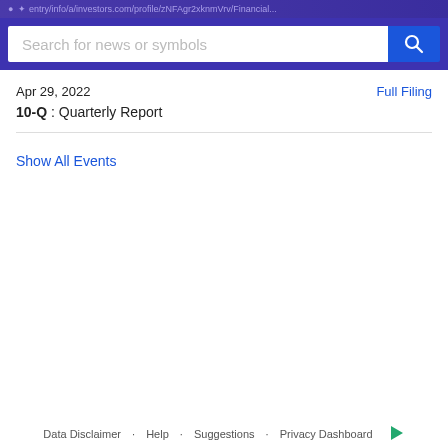Search for news or symbols
Apr 29, 2022
Full Filing
10-Q : Quarterly Report
Show All Events
Data Disclaimer · Help · Suggestions · Privacy Dashboard